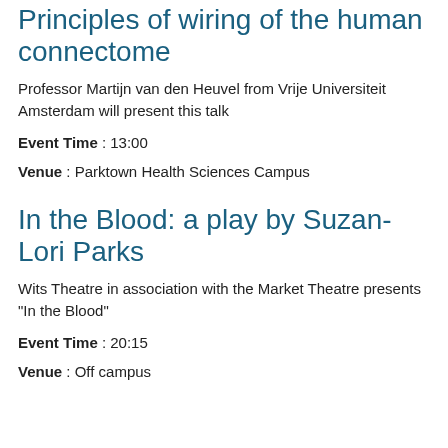Principles of wiring of the human connectome
Professor Martijn van den Heuvel from Vrije Universiteit Amsterdam will present this talk
Event Time : 13:00
Venue : Parktown Health Sciences Campus
In the Blood: a play by Suzan-Lori Parks
Wits Theatre in association with the Market Theatre presents "In the Blood"
Event Time : 20:15
Venue : Off campus